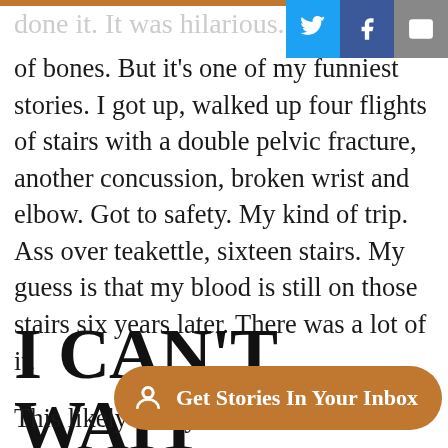done it. It was hilarious. Br
of bones. But it's one of my funniest stories. I got up, walked up four flights of stairs with a double pelvic fracture, another concussion, broken wrist and elbow. Got to safety. My kind of trip. Ass over teakettle, sixteen stairs. My guess is that my blood is still on those stairs six years later. There was a lot of it.
I CAN'T WAIT
This likely isn't you. Nor is this